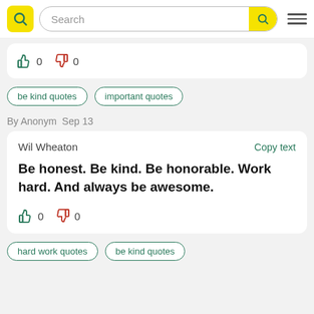Search
0  0
be kind quotes
important quotes
By Anonym  Sep 13
Wil Wheaton   Copy text
Be honest. Be kind. Be honorable. Work hard. And always be awesome.
0  0
hard work quotes
be kind quotes